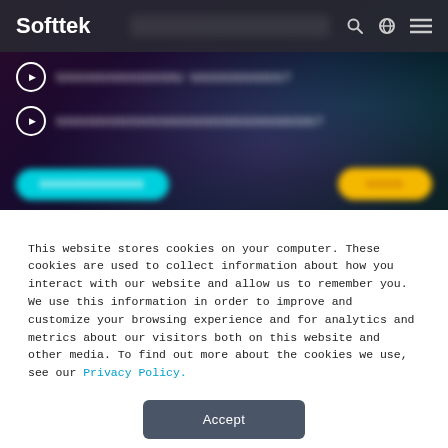Softtek
[blurred navigation link line 1]
[blurred navigation link line 2]
[Figure (other): Two blurred CTA buttons: cyan rounded button with blurred text on left, yellow rounded button with blurred text on right, overlaid on dark tech background]
This website stores cookies on your computer. These cookies are used to collect information about how you interact with our website and allow us to remember you. We use this information in order to improve and customize your browsing experience and for analytics and metrics about our visitors both on this website and other media. To find out more about the cookies we use, see our Privacy Policy.
Accept